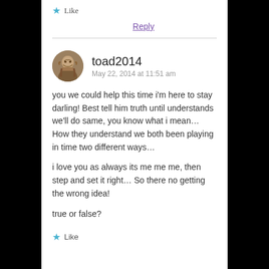★ Like
Reply
toad2014
May 22, 2014 at 11:51 am
you we could help this time i'm here to stay darling! Best tell him truth until understands we'll do same, you know what i mean… How they understand we both been playing in time two different ways…
i love you as always its me me me, then step and set it right… So there no getting the wrong idea!
true or false?
★ Like